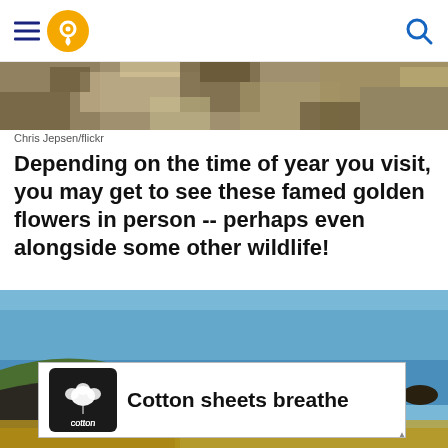[Navigation header with hamburger menu, location pin icon, and search icon]
[Figure (photo): Close-up of rocky coastal terrain with rough stone texture]
Chris Jepsen/flickr
Depending on the time of year you visit, you may get to see these famed golden flowers in person -- perhaps even alongside some other wildlife!
[Figure (photo): Coastal ocean scene with blue water, waves, green grassy rocky cliffs, a heron bird visible, and yellow wildflowers at the bottom]
[Figure (other): Advertisement banner: Cotton logo (white cotton boll on black square) with text 'Cotton sheets breathe']